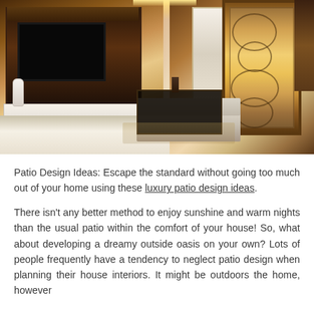[Figure (photo): Interior design photo showing a luxury living room with wooden TV unit, wall-mounted TV, decorative ceiling lighting, ornate wooden room divider/partition with scroll patterns, white sofa, black glass coffee table, and marble-like flooring]
Patio Design Ideas: Escape the standard without going too much out of your home using these luxury patio design ideas.
There isn't any better method to enjoy sunshine and warm nights than the usual patio within the comfort of your house! So, what about developing a dreamy outside oasis on your own? Lots of people frequently have a tendency to neglect patio design when planning their house interiors. It might be outdoors the home, however